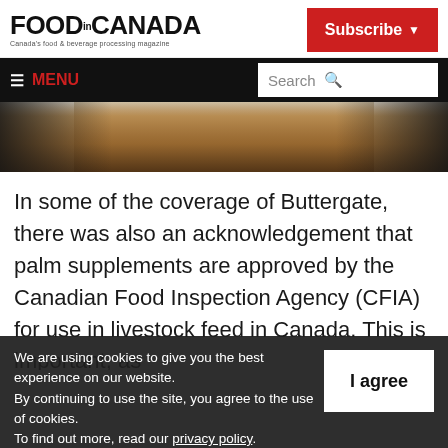FOOD.CANADA — Canada's food & beverage processing magazine
[Figure (screenshot): Subscribe button in red with dropdown arrow]
≡ MENU | Search
[Figure (photo): Close-up of people with blonde hair against dark background]
In some of the coverage of Buttergate, there was also an acknowledgement that palm supplements are approved by the Canadian Food Inspection Agency (CFIA) for use in livestock feed in Canada. This is important, as
We are using cookies to give you the best experience on our website.
By continuing to use the site, you agree to the use of cookies.
To find out more, read our privacy policy.